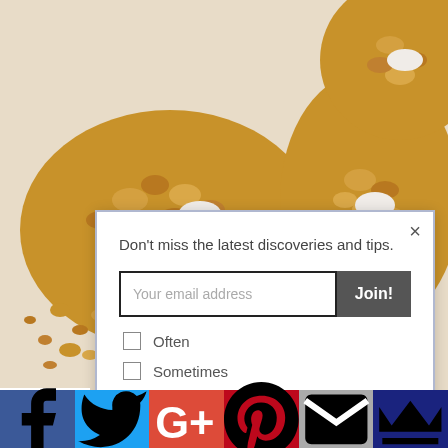[Figure (photo): Close-up photo of breaded/oat-coated cookies or baked goods on a white surface, showing golden-brown crumbly texture]
Don't miss the latest discoveries and tips.
Your email address
Join!
Often
Sometimes
Rarely
*We will never share or sell your contact information.
Shares